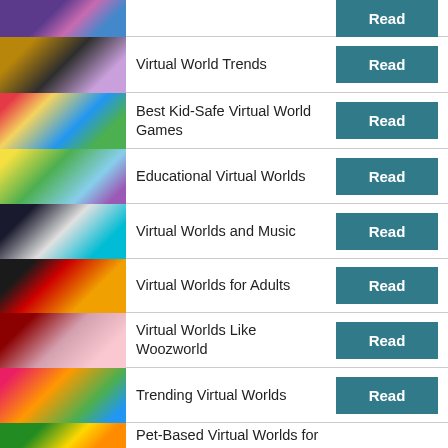Read
Virtual World Trends — Read
Best Kid-Safe Virtual World Games — Read
Educational Virtual Worlds — Read
Virtual Worlds and Music — Read
Virtual Worlds for Adults — Read
Virtual Worlds Like Woozworld — Read
Trending Virtual Worlds — Read
Pet-Based Virtual Worlds for